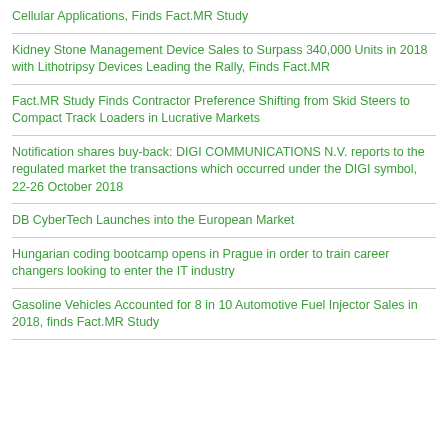Cellular Applications, Finds Fact.MR Study
Kidney Stone Management Device Sales to Surpass 340,000 Units in 2018 with Lithotripsy Devices Leading the Rally, Finds Fact.MR
Fact.MR Study Finds Contractor Preference Shifting from Skid Steers to Compact Track Loaders in Lucrative Markets
Notification shares buy-back: DIGI COMMUNICATIONS N.V. reports to the regulated market the transactions which occurred under the DIGI symbol, 22-26 October 2018
DB CyberTech Launches into the European Market
Hungarian coding bootcamp opens in Prague in order to train career changers looking to enter the IT industry
Gasoline Vehicles Accounted for 8 in 10 Automotive Fuel Injector Sales in 2018, finds Fact.MR Study